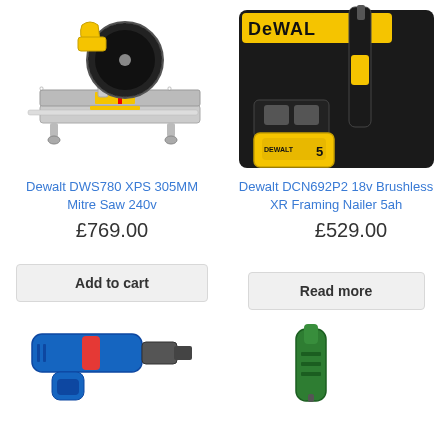[Figure (photo): Dewalt DWS780 XPS 305MM Mitre Saw, yellow and grey, on white background]
[Figure (photo): Dewalt DCN692P2 18v Brushless XR Framing Nailer 5ah with battery and charger in case]
Dewalt DWS780 XPS 305MM Mitre Saw 240v
Dewalt DCN692P2 18v Brushless XR Framing Nailer 5ah
£769.00
£529.00
Add to cart
Read more
[Figure (photo): Bosch drill tool with red and blue accents, partially visible at bottom left]
[Figure (photo): Green tool or accessory, partially visible at bottom right]